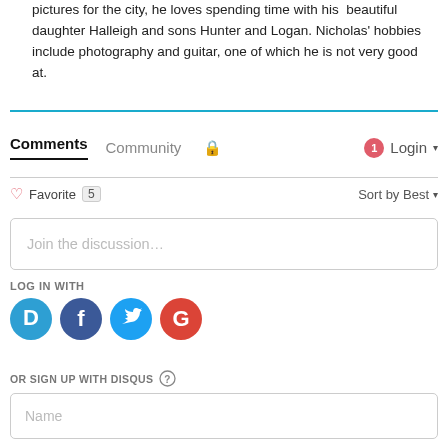pictures for the city, he loves spending time with his beautiful daughter Halleigh and sons Hunter and Logan. Nicholas' hobbies include photography and guitar, one of which he is not very good at.
Comments   Community   Login
♡ Favorite  5    Sort by Best
Join the discussion…
LOG IN WITH
[Figure (logo): Social login icons: Disqus (blue circle with D), Facebook (dark blue circle with f), Twitter (light blue circle with bird), Google (red circle with G)]
OR SIGN UP WITH DISQUS ?
Name